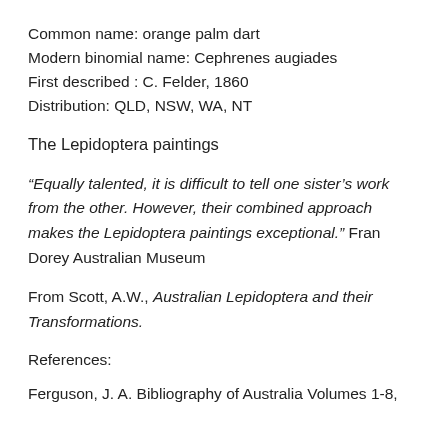Common name: orange palm dart
Modern binomial name: Cephrenes augiades
First described : C. Felder, 1860
Distribution: QLD, NSW, WA, NT
The Lepidoptera paintings
“Equally talented, it is difficult to tell one sister’s work from the other. However, their combined approach makes the Lepidoptera paintings exceptional.” Fran Dorey Australian Museum
From Scott, A.W., Australian Lepidoptera and their Transformations.
References:
Ferguson, J. A. Bibliography of Australia Volumes 1-8,